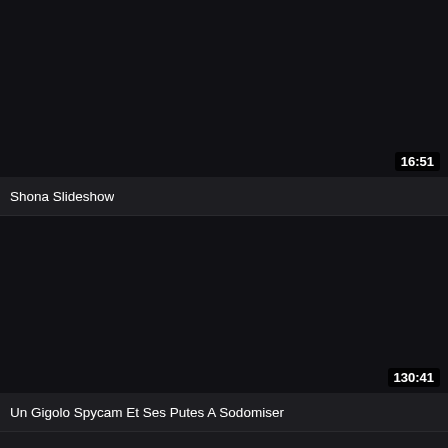[Figure (screenshot): Dark thumbnail area for video titled Shona Slideshow with duration badge 16:51 in top right]
Shona Slideshow
[Figure (screenshot): Dark thumbnail area for video titled Un Gigolo Spycam Et Ses Putes A Sodomiser with duration badge 130:41 in bottom right]
Un Gigolo Spycam Et Ses Putes A Sodomiser